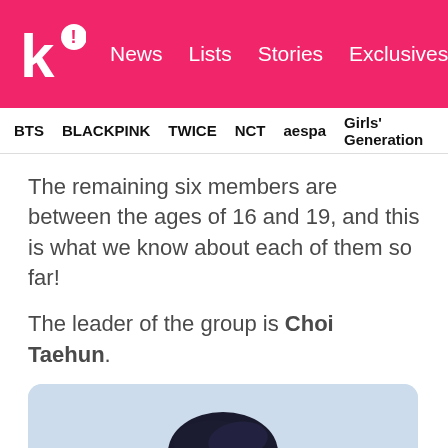k! News  Lists  Stories  Exclusives
BTS  BLACKPINK  TWICE  NCT  aespa  Girls' Generation
The remaining six members are between the ages of 16 and 19, and this is what we know about each of them so far!
The leader of the group is Choi Taehun.
[Figure (photo): Portrait photo of Choi Taehun, a young man with dark styled hair wearing a white top, against a light blue background]